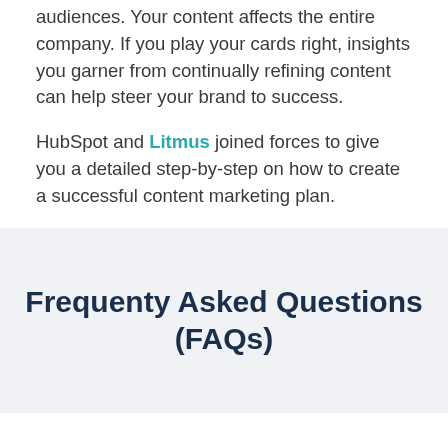audiences. Your content affects the entire company. If you play your cards right, insights you garner from continually refining content can help steer your brand to success.
HubSpot and Litmus joined forces to give you a detailed step-by-step on how to create a successful content marketing plan.
Frequenty Asked Questions (FAQs)